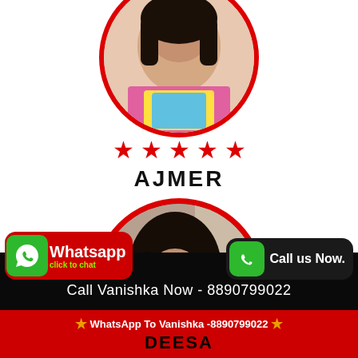[Figure (photo): Circular profile photo with red border, partially cropped at top, showing a person in colorful attire]
★ ★ ★ ★ ★
AJMER
[Figure (photo): Circular profile photo with red border of a young woman with dark hair looking at camera]
[Figure (infographic): Whatsapp button with red background and green WhatsApp icon, text: Whatsapp click to chat]
[Figure (infographic): Call button with dark background and green phone icon, text: Call us Now.]
Call Vanishka Now - 8890799022
★ WhatsApp To Vanishka -8890799022
DEESA